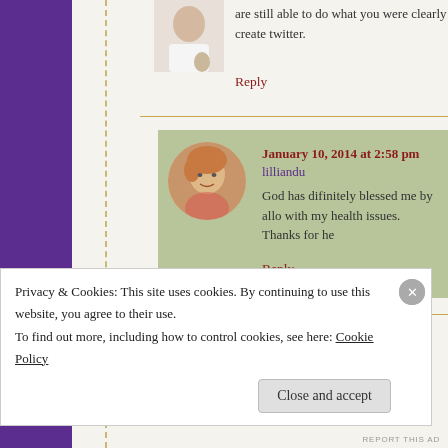are still able to do what you were clearly create twitter.
Reply
January 10, 2014 at 2:58 pm lilliandu
God has difinitely blessed me by allo with my health issues. Thanks for he
Reply
January 10, 2014 at 1:06 pm Sherry Carter says:
Privacy & Cookies: This site uses cookies. By continuing to use this website, you agree to their use. To find out more, including how to control cookies, see here: Cookie Policy
Close and accept